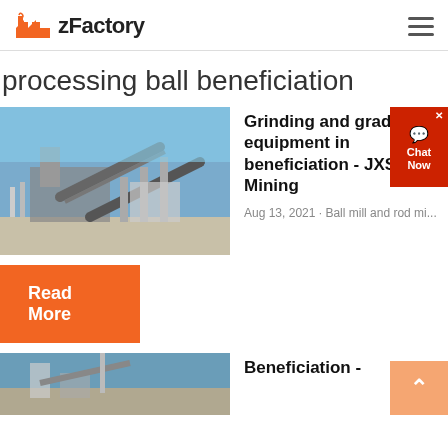zFactory
processing ball beneficiation
[Figure (photo): Industrial mining/processing plant with conveyor belts and structural steel against a blue sky]
Grinding and grading equipment in beneficiation - JXSC Mining
Aug 13, 2021 · Ball mill and rod mi...
Read More
[Figure (photo): Mining or beneficiation equipment, partially visible at bottom of page]
Beneficiation -